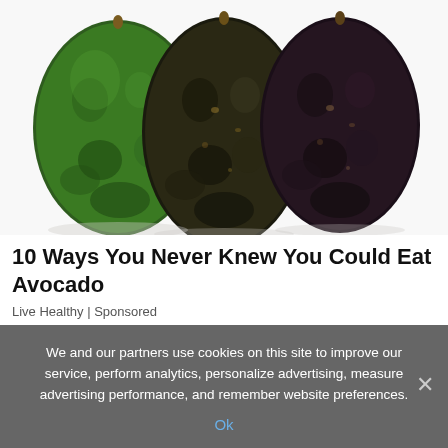[Figure (photo): Three avocados side by side on a white background: one bright green (unripe), one dark greenish-brown (medium ripe), and one very dark purple-black (fully ripe).]
10 Ways You Never Knew You Could Eat Avocado
Live Healthy | Sponsored
We and our partners use cookies on this site to improve our service, perform analytics, personalize advertising, measure advertising performance, and remember website preferences.
Ok